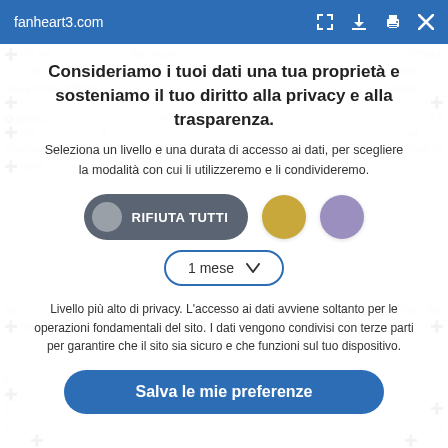fanheart3.com
Consideriamo i tuoi dati una tua proprietà e sosteniamo il tuo diritto alla privacy e alla trasparenza.
Seleziona un livello e una durata di accesso ai dati, per scegliere la modalità con cui li utilizzeremo e li condivideremo.
RIFIUTA TUTTI
1 mese
Livello più alto di privacy. L'accesso ai dati avviene soltanto per le operazioni fondamentali del sito. I dati vengono condivisi con terze parti per garantire che il sito sia sicuro e che funzioni sul tuo dispositivo.
Salva le mie preferenze